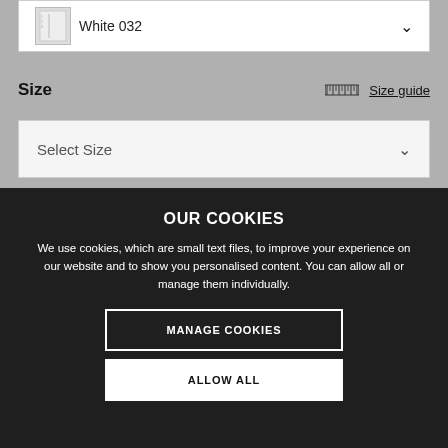White 032
Size
Size guide
Select Size
OUR COOKIES
We use cookies, which are small text files, to improve your experience on our website and to show you personalised content. You can allow all or manage them individually.
MANAGE COOKIES
ALLOW ALL